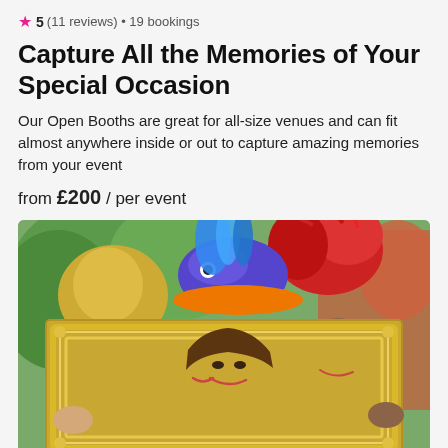★ 5 (11 reviews) • 19 bookings
Capture All the Memories of Your Special Occasion
Our Open Booths are great for all-size venues and can fit almost anywhere inside or out to capture amazing memories from your event
from £200 / per event
[Figure (photo): Three people wearing colorful costume hats and accessories holding a large ornate gold picture frame up in front of them, smiling, outdoors with green foliage in background.]